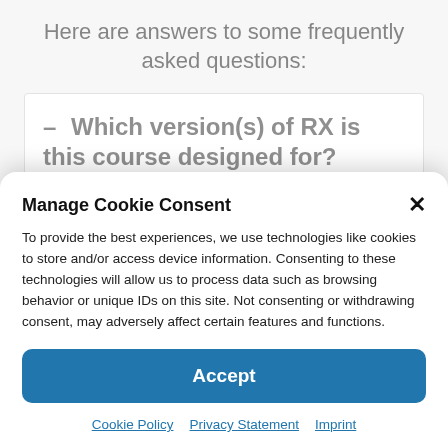Here are answers to some frequently asked questions:
— Which version(s) of RX is this course designed for?Which version(s) of RX is this course
Manage Cookie Consent
To provide the best experiences, we use technologies like cookies to store and/or access device information. Consenting to these technologies will allow us to process data such as browsing behavior or unique IDs on this site. Not consenting or withdrawing consent, may adversely affect certain features and functions.
Accept
Cookie Policy  Privacy Statement  Imprint